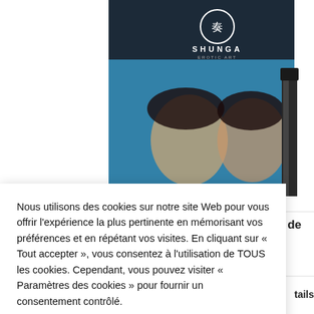[Figure (screenshot): Shunga Erotic Art product box and bottle partially visible in background behind cookie consent overlay]
Nous utilisons des cookies sur notre site Web pour vous offrir l'expérience la plus pertinente en mémorisant vos préférences et en répétant vos visites. En cliquant sur « Tout accepter », vous consentez à l'utilisation de TOUS les cookies. Cependant, vous pouvez visiter « Paramètres des cookies » pour fournir un consentement contrôlé.
Cookie Settings
Tout accepter
Refuser